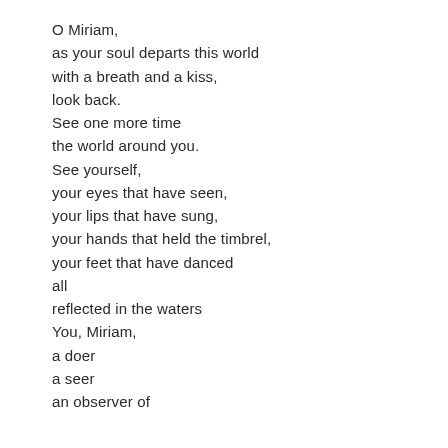O Miriam,
as your soul departs this world
with a breath and a kiss,
look back.
 See one more time
 the world around you.
 See yourself,
your eyes that have seen,
your lips that have sung,
your hands that held the timbrel,
your feet that have danced
all
reflected in the waters

You, Miriam,
a doer
a seer
an observer of